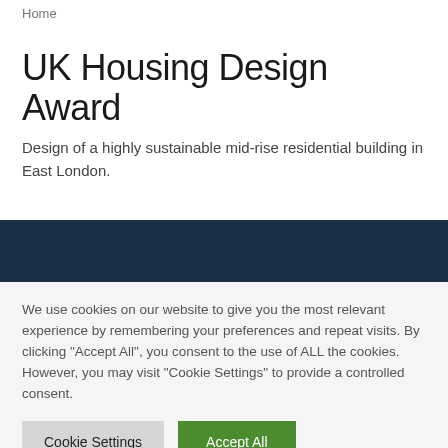Home
UK Housing Design Award
Design of a highly sustainable mid-rise residential building in East London.
We use cookies on our website to give you the most relevant experience by remembering your preferences and repeat visits. By clicking "Accept All", you consent to the use of ALL the cookies. However, you may visit "Cookie Settings" to provide a controlled consent.